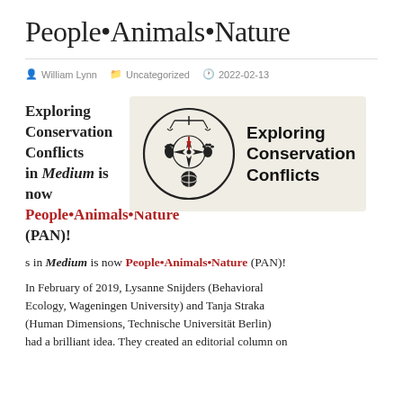People•Animals•Nature
William Lynn   Uncategorized   2022-02-13
Exploring Conservation Conflicts in Medium is now People•Animals•Nature (PAN)!
[Figure (logo): Exploring Conservation Conflicts logo: circular emblem with compass rose, scales of justice, footprint, paw print, and globe symbol, with text 'Exploring Conservation Conflicts' to the right on a beige background.]
In February of 2019, Lysanne Snijders (Behavioral Ecology, Wageningen University) and Tanja Straka (Human Dimensions, Technische Universität Berlin) had a brilliant idea. They created an editorial column on